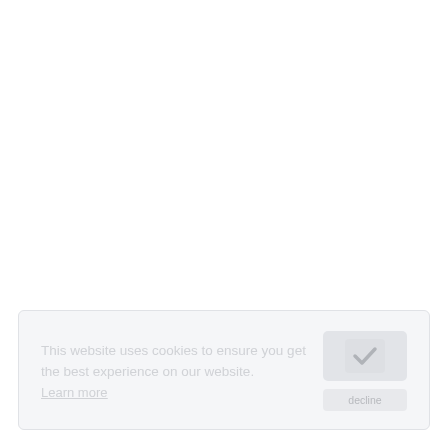This website uses cookies to ensure you get the best experience on our website.
Learn more